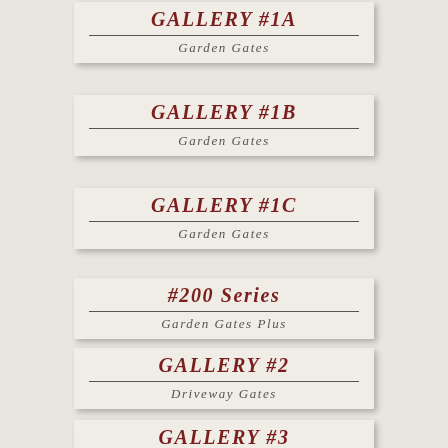GALLERY #1A
Garden Gates
GALLERY #1B
Garden Gates
GALLERY #1C
Garden Gates
#200 Series
Garden Gates Plus
GALLERY #2
Driveway Gates
GALLERY #3